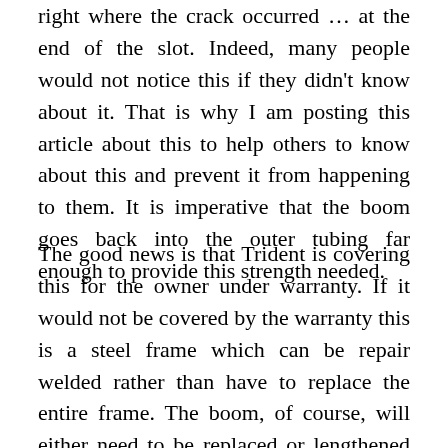right where the crack occurred … at the end of the slot. Indeed, many people would not notice this if they didn't know about it. That is why I am posting this article about this to help others to know about this and prevent it from happening to them. It is imperative that the boom goes back into the outer tubing far enough to provide this strength needed.
The good news is that Trident is covering this for the owner under warranty. If it would not be covered by the warranty this is a steel frame which can be repair welded rather than have to replace the entire frame. The boom, of course, will either need to be replaced or lengthened by a qualified weldor. It would do no good to repair weld the crack and reassemble it using the